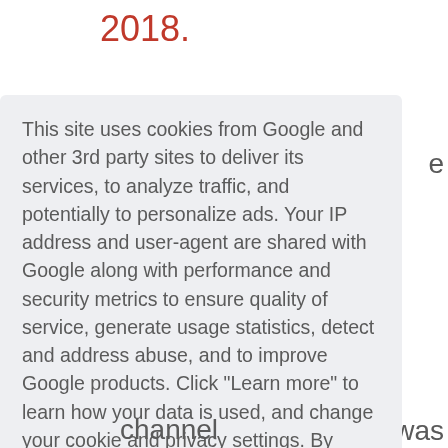2018.
This site uses cookies from Google and other 3rd party sites to deliver its services, to analyze traffic, and potentially to personalize ads. Your IP address and user-agent are shared with Google along with performance and security metrics to ensure quality of service, generate usage statistics, detect and address abuse, and to improve Google products. Click "Learn more" to learn how your data is used, and change your cookie and privacy settings. By using this site, you agree to its use of cookies and other data.
Learn more
Got it!
channel